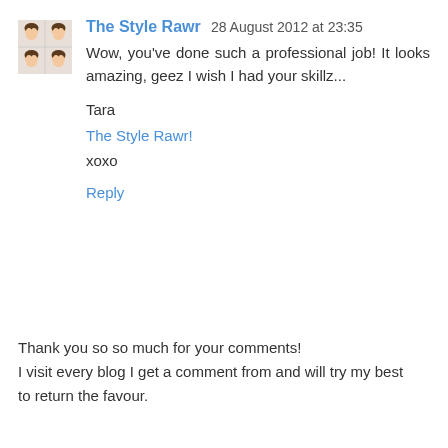[Figure (illustration): Avatar image showing a 2x2 grid of cartoon female faces with brown hair]
The Style Rawr 28 August 2012 at 23:35
Wow, you've done such a professional job! It looks amazing, geez I wish I had your skillz...

Tara
The Style Rawr!
xoxo

Reply
Thank you so so much for your comments!
I visit every blog I get a comment from and will try my best
to return the favour.